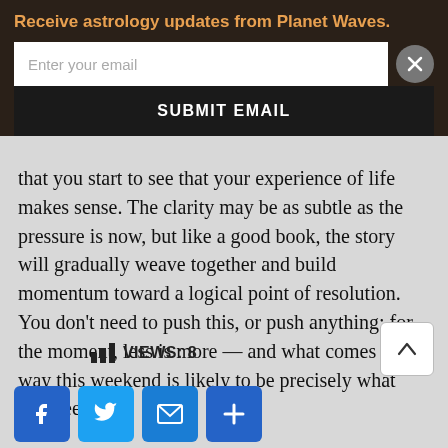Receive astrology updates from Planet Waves.
that you start to see that your experience of life makes sense. The clarity may be as subtle as the pressure is now, but like a good book, the story will gradually weave together and build momentum toward a logical point of resolution. You don't need to push this, or push anything; for the moment, less is more — and what comes your way this weekend is likely to be precisely what you need.
VIEWS: 8